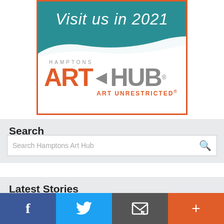[Figure (logo): Hamptons Art Hub advertisement banner. Teal top section with italic white text 'Visit us in 2021' and a white diagonal brush stroke. Bottom white section shows 'HAMPTONS' in small gray caps, then large bold logo with 'ART' in orange, arrow shape in gray, 'HUB' in gray with registered trademark, and 'ART UNRESTRICTED®' in orange below. Surrounded by orange border.]
Search
Search Hamptons Art Hub
Latest Stories
Coronavirus Caution Causes Culture Cancellations in The